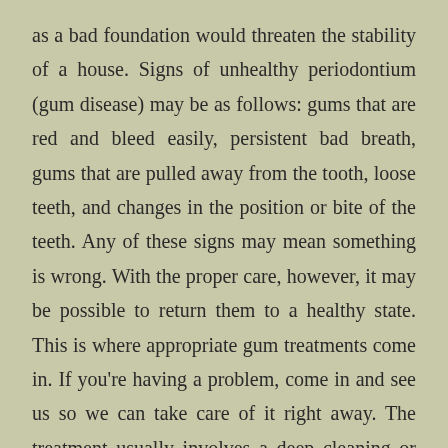as a bad foundation would threaten the stability of a house. Signs of unhealthy periodontium (gum disease) may be as follows: gums that are red and bleed easily, persistent bad breath, gums that are pulled away from the tooth, loose teeth, and changes in the position or bite of the teeth. Any of these signs may mean something is wrong. With the proper care, however, it may be possible to return them to a healthy state. This is where appropriate gum treatments come in. If you're having a problem, come in and see us so we can take care of it right away. The treatment usually involves a deep cleaning or root planing done under a local anesthetic, along with local antibiotic agents. If the